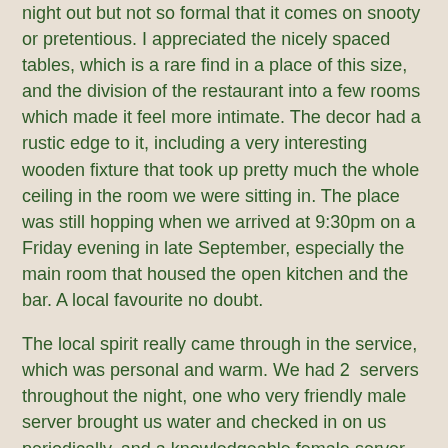night out but not so formal that it comes on snooty or pretentious.  I appreciated the nicely spaced tables, which is a rare find in a place of this size, and the division of the restaurant into a few rooms which made it feel more intimate.  The decor had a rustic edge to it, including a very interesting wooden fixture that took up pretty much the whole ceiling in the room we were sitting in.  The place was still hopping when we arrived at 9:30pm on a Friday evening in late September, especially the main room that housed the open kitchen and the bar.  A local favourite no doubt.
The local spirit really came through in the service, which was personal and warm.  We had 2  servers throughout the night, one who very friendly male server brought us water and checked in on us periodically, and a knowledgeable female server who helped us with menu choices and brought out our dishes.  I noticed the chef emerging from the kitchen on a few occasions to chat with some locals at the bar.  Chef Filatow is also the restaurant's sommelier (he was accepted into the International Sommelier Guild a few years back) and has worked his way through some very well-respected BC restaurants including Vancouver's Bishop's and Tofino's Wickaninnish...